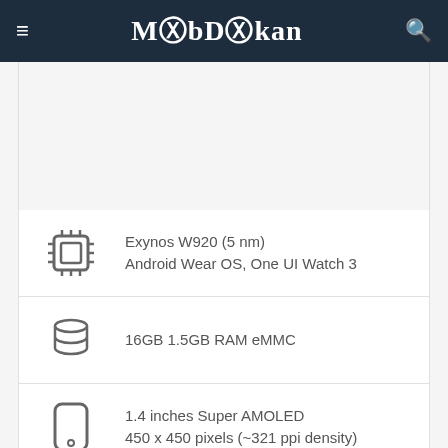MobDokan
Exynos W920 (5 nm)
Android Wear OS, One UI Watch 3
16GB 1.5GB RAM eMMC
1.4 inches Super AMOLED
450 x 450 pixels (~321 ppi density)